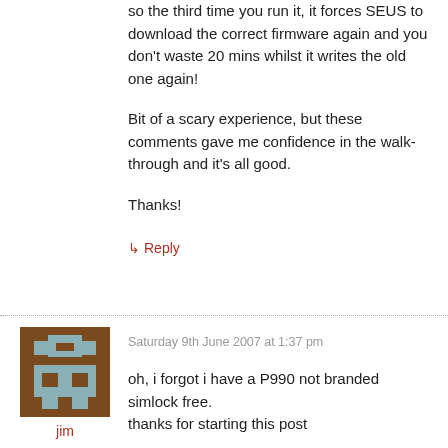so the third time you run it, it forces SEUS to download the correct firmware again and you don't waste 20 mins whilst it writes the old one again!
Bit of a scary experience, but these comments gave me confidence in the walk-through and it's all good.
Thanks!
↳ Reply
[Figure (illustration): Brown pixel-art avatar icon]
jim
Saturday 9th June 2007 at 1:37 pm
oh, i forgot i have a P990 not branded simlock free.
thanks for starting this post